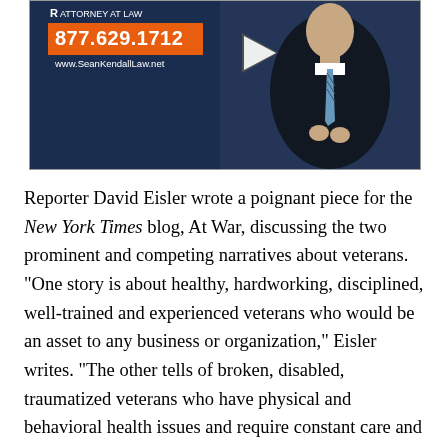[Figure (screenshot): Video thumbnail of Sean Kendall Attorney at Law, showing phone number 877.629.1712, website www.SeanKendallLaw.net, and a man in a dark suit with a striped tie against a dark blue background. A play button triangle is visible in the center-right area.]
Reporter David Eisler wrote a poignant piece for the New York Times blog, At War, discussing the two prominent and competing narratives about veterans. "One story is about healthy, hardworking, disciplined, well-trained and experienced veterans who would be an asset to any business or organization," Eisler writes. "The other tells of broken, disabled, traumatized veterans who have physical and behavioral health issues and require constant care and supervision."